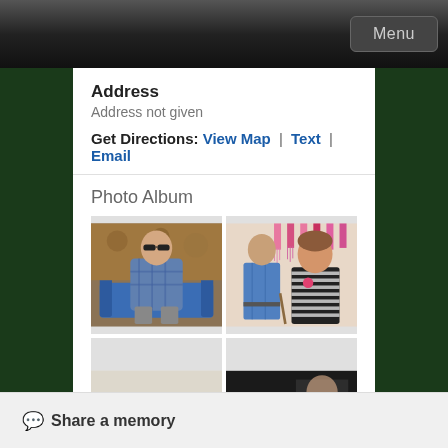Menu
Address
Address not given
Get Directions: View Map | Text | Email
Photo Album
[Figure (photo): Elderly man with sunglasses sitting on a blue couch outdoors among fallen leaves]
[Figure (photo): Elderly man in blue shirt standing next to a younger woman in striped dress with pink decorations in background]
[Figure (photo): Partially visible photo, light background]
[Figure (photo): Partially visible dark photo]
Share a memory